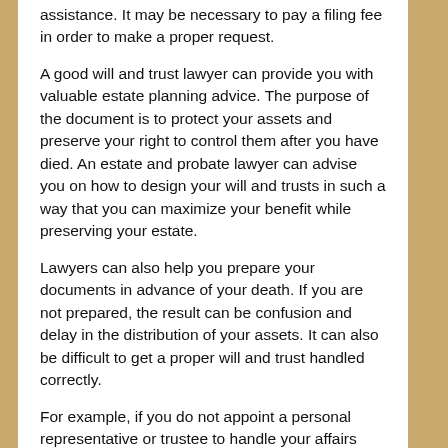assistance. It may be necessary to pay a filing fee in order to make a proper request.
A good will and trust lawyer can provide you with valuable estate planning advice. The purpose of the document is to protect your assets and preserve your right to control them after you have died. An estate and probate lawyer can advise you on how to design your will and trusts in such a way that you can maximize your benefit while preserving your estate.
Lawyers can also help you prepare your documents in advance of your death. If you are not prepared, the result can be confusion and delay in the distribution of your assets. It can also be difficult to get a proper will and trust handled correctly.
For example, if you do not appoint a personal representative or trustee to handle your affairs after your death, your beneficiaries may find it very difficult to receive their rightful inheritance. This can lead to